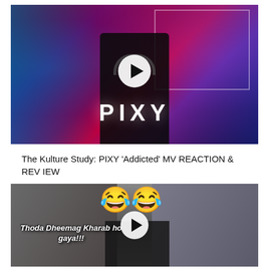[Figure (screenshot): YouTube video thumbnail for 'The Kulture Study: PIXY Addicted MV REACTION & REVIEW'. Shows a dark fantasy purple/red background with two female figures on the sides, a person in black with headphones in the center, and PIXY text at the bottom. A white play button circle is overlaid in the center.]
The Kulture Study: PIXY 'Addicted' MV REACTION & REVIEW
[Figure (screenshot): YouTube video thumbnail showing a man on the left side, two crying-laughing emoji in the center-top area, text 'Thoda Dheemag Kharab ho gaya!!!' on the lower left, a white play button circle in the center, and a woman wearing a mask on the right. Dark and muted color tones.]